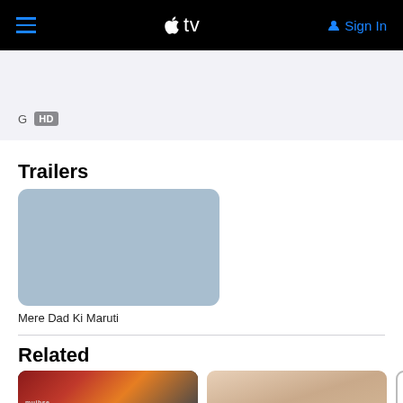Apple TV — Sign In
G  HD
Trailers
[Figure (screenshot): Trailer thumbnail placeholder for Mere Dad Ki Maruti — blue-gray rounded rectangle]
Mere Dad Ki Maruti
Related
[Figure (screenshot): Related movie card: mujhse fraaandship]
[Figure (photo): Related movie card: partially visible, shows two people]
[Figure (illustration): Related movie card: Shuddh Desi Romance]